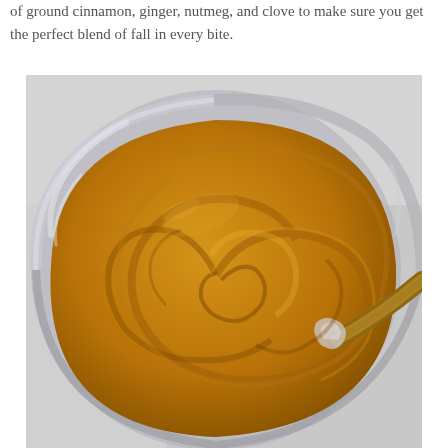of ground cinnamon, ginger, nutmeg, and clove to make sure you get the perfect blend of fall in every bite.
[Figure (photo): Overhead close-up photo of a glass bowl containing swirled golden-orange pumpkin butter or similar spiced mixture being stirred with a wooden spoon, against a light gray background.]